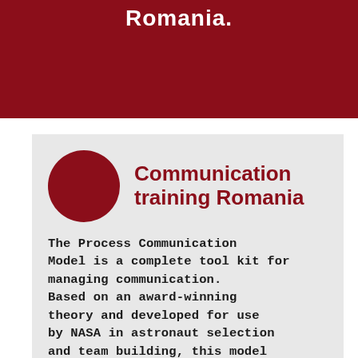Romania.
Communication training Romania
The Process Communication Model is a complete tool kit for managing communication. Based on an award-winning theory and developed for use by NASA in astronaut selection and team building, this model has been extensively used in the USA, mainland Europe,